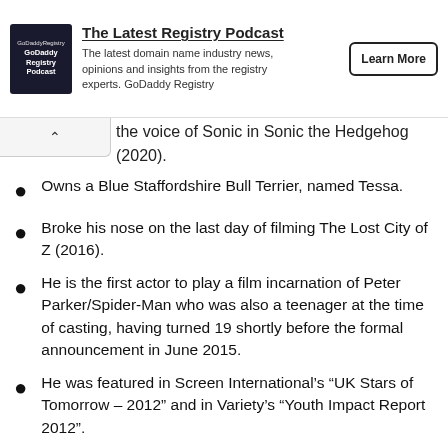[Figure (other): GoDaddy Registry Podcast advertisement banner with logo, description text, and Learn More button]
the voice of Sonic in Sonic the Hedgehog (2020).
Owns a Blue Staffordshire Bull Terrier, named Tessa.
Broke his nose on the last day of filming The Lost City of Z (2016).
He is the first actor to play a film incarnation of Peter Parker/Spider-Man who was also a teenager at the time of casting, having turned 19 shortly before the formal announcement in June 2015.
He was featured in Screen International’s “UK Stars of Tomorrow – 2012” and in Variety’s “Youth Impact Report 2012”.